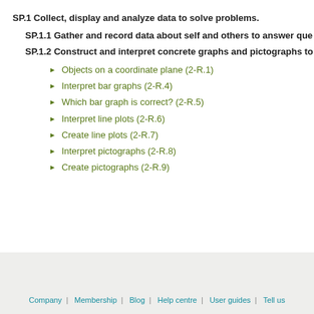SP.1 Collect, display and analyze data to solve problems.
SP.1.1 Gather and record data about self and others to answer que...
SP.1.2 Construct and interpret concrete graphs and pictographs to...
Objects on a coordinate plane (2-R.1)
Interpret bar graphs (2-R.4)
Which bar graph is correct? (2-R.5)
Interpret line plots (2-R.6)
Create line plots (2-R.7)
Interpret pictographs (2-R.8)
Create pictographs (2-R.9)
Company | Membership | Blog | Help centre | User guides | Tell us